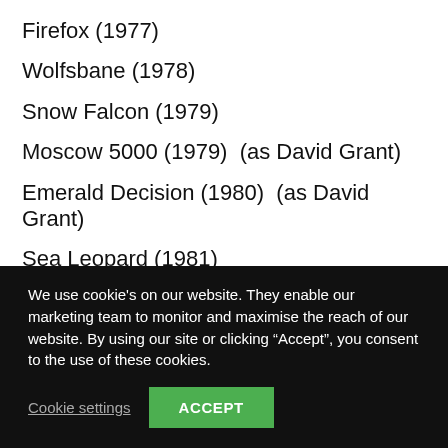Firefox (1977)
Wolfsbane (1978)
Snow Falcon (1979)
Moscow 5000 (1979)  (as David Grant)
Emerald Decision (1980)  (as David Grant)
Sea Leopard (1981)
Jade Tiger (1982)
We use cookie's on our website. They enable our marketing team to monitor and maximise the reach of our website. By using our site or clicking “Accept”, you consent to the use of these cookies.
Cookie settings  ACCEPT